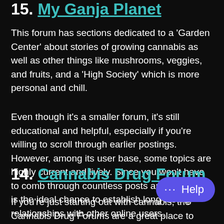15. My Ganja Planet
This forum has sections dedicated to a 'Garden Center' about stories of growing cannabis as well as other things like mushrooms, veggies, and fruits, and a 'High Society' which is more personal and chill.
Even though it's a smaller forum, it's still educational and helpful, especially if you're willing to scroll through earlier postings. However, among its user base, some topics are highly current and lively. Since you won't have to comb through countless posts and users, this is the ideal chance to establish long-lasting relationships with other online users.
14. Cannabis Drug Forum
If you're just starting out with cannabis, the Cannabis Drug Forums are a great place to start. This forum is for beginner cannabis users and includes basic discussion, so beginners are